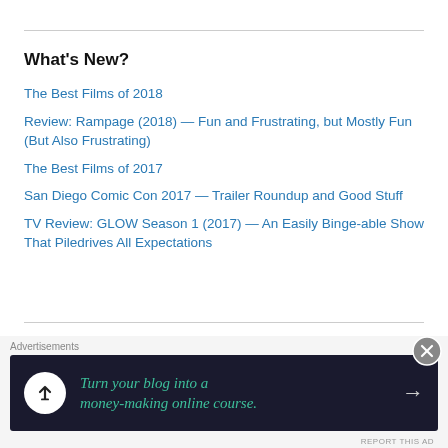What's New?
The Best Films of 2018
Review: Rampage (2018) — Fun and Frustrating, but Mostly Fun (But Also Frustrating)
The Best Films of 2017
San Diego Comic Con 2017 — Trailer Roundup and Good Stuff
TV Review: GLOW Season 1 (2017) — An Easily Binge-able Show That Piledrives All Expectations
Top Posts
The Best Films of 2018
Review: Rampage (2018) -- Fun and Frustrating, but Mostly Fun (But Also
Advertisements
[Figure (other): Advertisement banner: dark background with icon, text 'Turn your blog into a money-making online course.' and arrow]